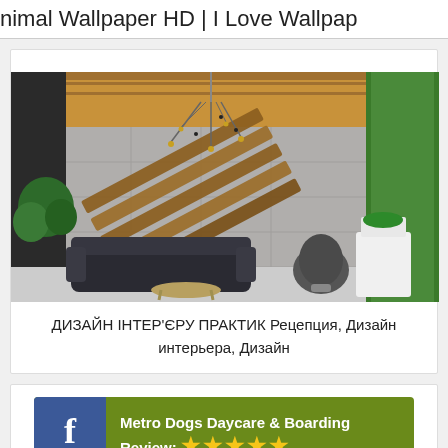nimal Wallpaper HD | I Love Wallpap
[Figure (photo): Modern interior design photo showing a floating staircase with wooden steps, a dramatic chandelier, concrete wall, a dark sofa, egg chairs, and a living green wall]
ДИЗАЙН ІНТЕР'ЄРУ ПРАКТИК Рецепция, Дизайн интерьера, Дизайн
[Figure (other): Facebook advertisement banner for Metro Dogs Daycare & Boarding with a 5-star review, olive/green background with blue Facebook icon]